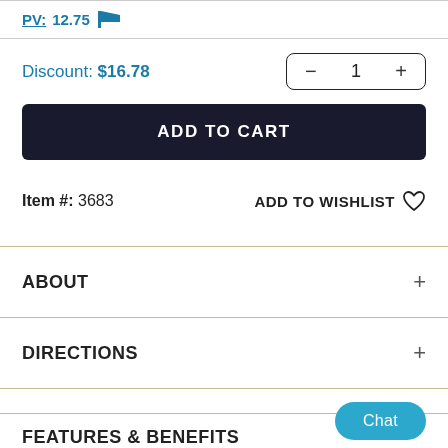PV: 12.75 🏴
Discount: $16.78
ADD TO CART
Item #: 3683
ADD TO WISHLIST
ABOUT
DIRECTIONS
FEATURES & BENEFITS
Chat